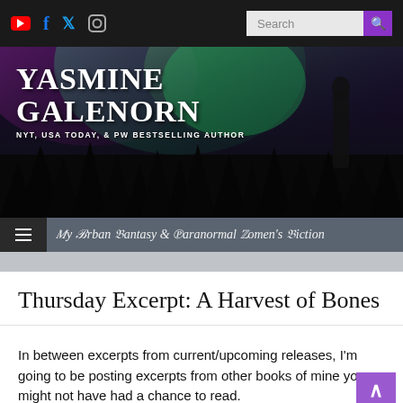[Figure (screenshot): Website top navigation bar with social media icons (YouTube, Facebook, Twitter, Instagram) and a search box with purple search button on dark background]
[Figure (illustration): Yasmine Galenorn author banner with aurora borealis sky, silhouetted trees, and a figure of a woman in black. Large white serif text reads YASMINE GALENORN, NYT, USA TODAY, & PW BESTSELLING AUTHOR]
My Urban Fantasy & Paranormal Women's Fiction
Thursday Excerpt: A Harvest of Bones
In between excerpts from current/upcoming releases, I'm going to be posting excerpts from other books of mine you might not have had a chance to read.